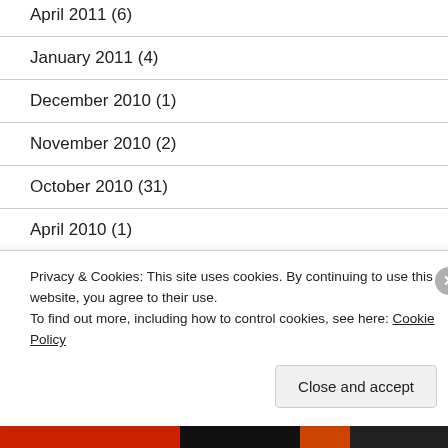April 2011 (6)
January 2011 (4)
December 2010 (1)
November 2010 (2)
October 2010 (31)
April 2010 (1)
March 2010 (2)
February 2010 (3)
Privacy & Cookies: This site uses cookies. By continuing to use this website, you agree to their use.
To find out more, including how to control cookies, see here: Cookie Policy